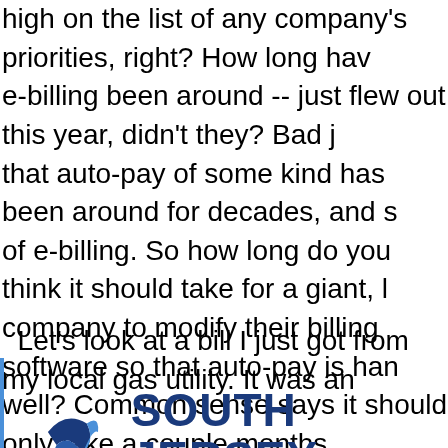high on the list of any company's priorities, right? How long have e-billing been around -- just flew out this year, didn't they? Bad j that auto-pay of some kind has been around for decades, and s of e-billing. So how long do you think it should take for a giant, l company to modify their billing software so that auto-pay is han well? Common sense says it should only take a couple months, company maybe a year? Two years? Let's say that by any reas it should have been completely nailed by 2010, over a decade a
Let's look at a bill I just got from my local gas utility. It was an
[Figure (logo): South Jersey Gas company logo with stylized flame/bird icon in blue and orange, with 'SOUTH JERSEY' in dark blue bold text and 'GAS' in orange bold text]